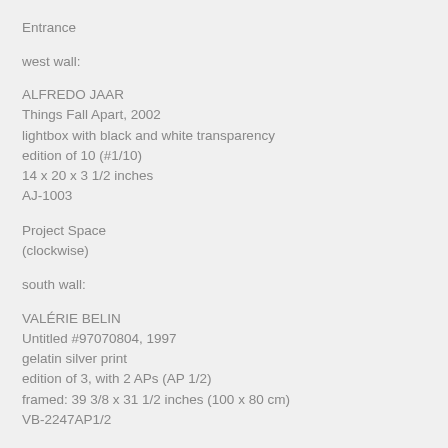Entrance
west wall:
ALFREDO JAAR
Things Fall Apart, 2002
lightbox with black and white transparency
edition of 10 (#1/10)
14 x 20 x 3 1/2 inches
AJ-1003
Project Space
(clockwise)
south wall:
VALÉRIE BELIN
Untitled #97070804, 1997
gelatin silver print
edition of 3, with 2 APs (AP 1/2)
framed: 39 3/8 x 31 1/2 inches (100 x 80 cm)
VB-2247AP1/2
east wall: